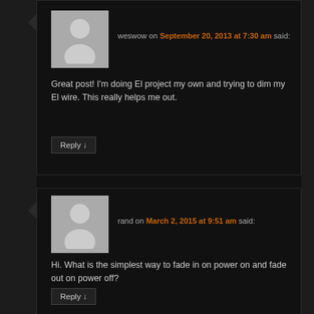[Figure (photo): Default avatar silhouette for user weswow]
weswow on September 20, 2013 at 7:30 am said:
Great post! I'm doing El project my own and trying to dim my El wire. This really helps me out.
Reply ↓
[Figure (photo): Default avatar silhouette for user rand]
rand on March 2, 2015 at 9:51 am said:
Hi. What is the simplest way to fade in on power on and fade out on power off?
Reply ↓